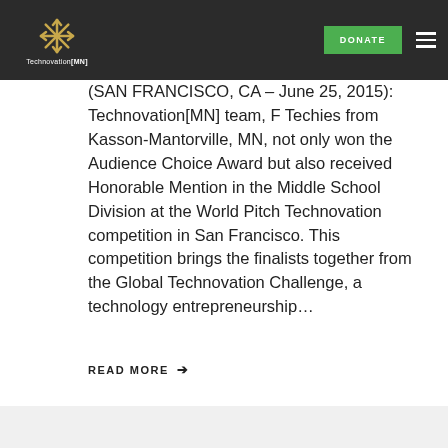Technovation[MN] — Navigation bar with logo, DONATE button, and hamburger menu
(SAN FRANCISCO, CA – June 25, 2015): Technovation[MN] team, F Techies from Kasson-Mantorville, MN, not only won the Audience Choice Award but also received Honorable Mention in the Middle School Division at the World Pitch Technovation competition in San Francisco. This competition brings the finalists together from the Global Technovation Challenge, a technology entrepreneurship…
READ MORE →